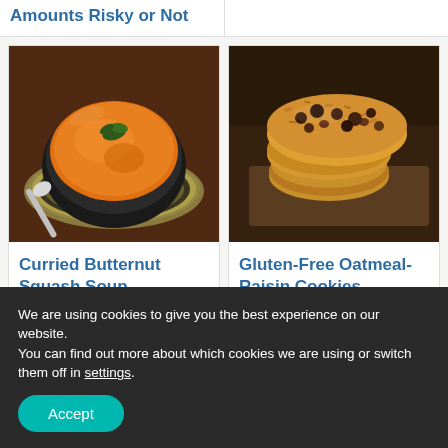Amounts Risky or Not
[Figure (photo): A bowl of curried butternut squash soup garnished with herbs on a striped plate with a spoon]
Curried Butternut Squash Soup
[Figure (photo): A stack of gluten-free oatmeal-raisin cookies on brown paper]
Gluten-Free Oatmeal-Raisin Cookies
We are using cookies to give you the best experience on our website.
You can find out more about which cookies we are using or switch them off in settings.
Accept